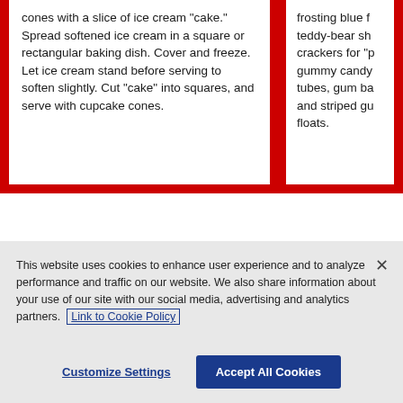cones with a slice of ice cream "cake." Spread softened ice cream in a square or rectangular baking dish. Cover and freeze. Let ice cream stand before serving to soften slightly. Cut "cake" into squares, and serve with cupcake cones.
frosting blue f teddy-bear sh crackers for "p gummy candy tubes, gum ba and striped gu floats.
This website uses cookies to enhance user experience and to analyze performance and traffic on our website. We also share information about your use of our site with our social media, advertising and analytics partners. Link to Cookie Policy
Customize Settings
Accept All Cookies